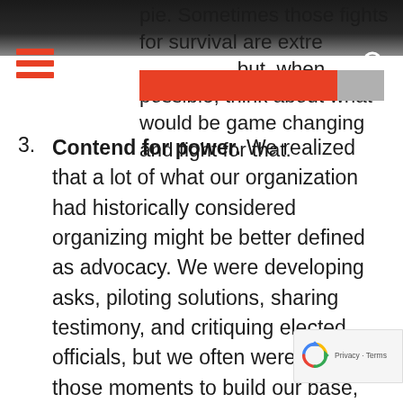pie. Sometimes those fights for survival are extremely necessary, but, when possible, think about what would be game changing and fight for that.
3. Contend for power. We realized that a lot of what our organization had historically considered organizing might be better defined as advocacy. We were developing asks, piloting solutions, sharing testimony, and critiquing elected officials, but we often weren't using those moments to build our base, improve organizing conditions, and raise our profile. Th campaign was different: our voter